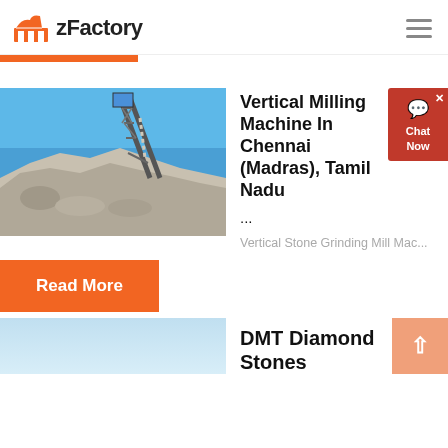zFactory
[Figure (photo): Industrial conveyor belt system over a rock/gravel pile against blue sky]
Vertical Milling Machine In Chennai (Madras), Tamil Nadu
...
Vertical Stone Grinding Mill Mac...
Read More
DMT Diamond Stones